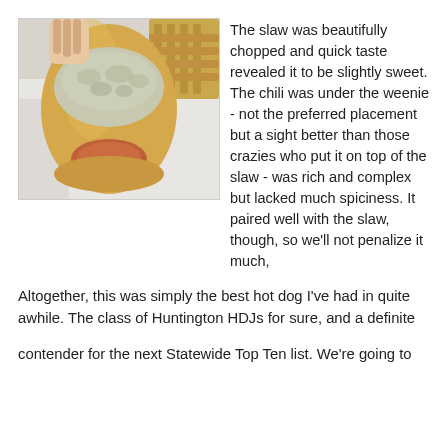[Figure (photo): A hand-held hot dog in a bun topped with coleslaw, with waffle fries visible in the background.]
The slaw was beautifully chopped and quick taste revealed it to be slightly sweet. The chili was under the weenie - not the preferred placement but a sight better than those crazies who put it on top of the slaw - was rich and complex but lacked much spiciness. It paired well with the slaw, though, so we'll not penalize it much,
Altogether, this was simply the best hot dog I've had in quite awhile. The class of Huntington HDJs for sure, and a definite
contender for the next Statewide Top Ten list. We're going to